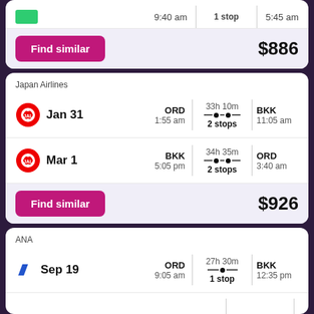9:40 am | 1 stop | 5:45 am
Find similar  $886
Japan Airlines
Jan 31  ORD 1:55 am  33h 10m 2 stops  BKK 11:05 am
Mar 1  BKK 5:05 pm  34h 35m 2 stops  ORD 3:40 am
Find similar  $926
ANA
Sep 19  ORD 9:05 am  27h 30m 1 stop  BKK 12:35 pm